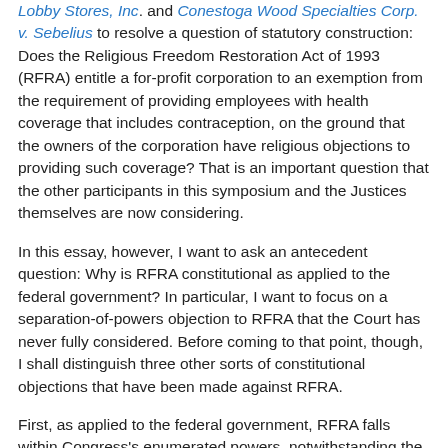Lobby Stores, Inc. and Conestoga Wood Specialties Corp. v. Sebelius to resolve a question of statutory construction:  Does the Religious Freedom Restoration Act of 1993 (RFRA) entitle a for-profit corporation to an exemption from the requirement of providing employees with health coverage that includes contraception, on the ground that the owners of the corporation have religious objections to providing such coverage?  That is an important question that the other participants in this symposium and the Justices themselves are now considering.
In this essay, however, I want to ask an antecedent question: Why is RFRA constitutional as applied to the federal government?  In particular, I want to focus on a separation-of-powers objection to RFRA that the Court has never fully considered.  Before coming to that point, though, I shall distinguish three other sorts of constitutional objections that have been made against RFRA.
First, as applied to the federal government, RFRA falls within Congress's enumerated powers, notwithstanding the Supreme Court's decision in City of Boerne v. Flores.  There